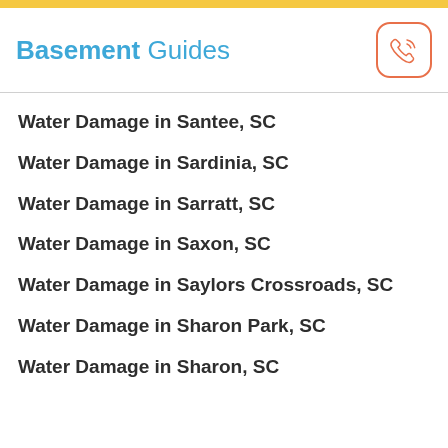Basement Guides
Water Damage in Santee, SC
Water Damage in Sardinia, SC
Water Damage in Sarratt, SC
Water Damage in Saxon, SC
Water Damage in Saylors Crossroads, SC
Water Damage in Sharon Park, SC
Water Damage in Sharon, SC